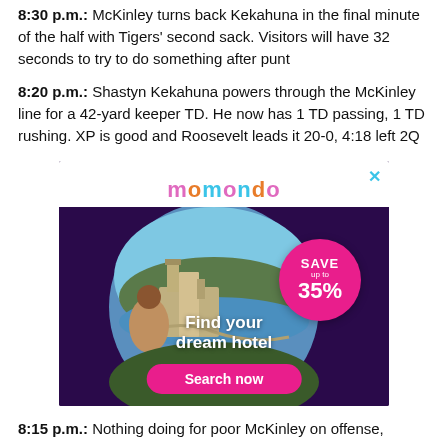8:30 p.m.: McKinley turns back Kekahuna in the final minute of the half with Tigers' second sack. Visitors will have 32 seconds to try to do something after punt
8:20 p.m.: Shastyn Kekahuna powers through the McKinley line for a 42-yard keeper TD. He now has 1 TD passing, 1 TD rushing. XP is good and Roosevelt leads it 20-0, 4:18 left 2Q
[Figure (photo): Momondo travel advertisement showing a woman looking at a coastal European town with a pink circle overlay saying 'SAVE up to 35%', tagline 'Find your dream hotel' and a pink 'Search now' button.]
8:15 p.m.: Nothing doing for poor McKinley on offense,